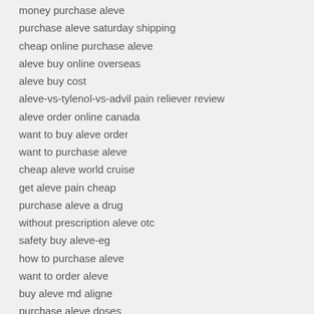money purchase aleve
purchase aleve saturday shipping
cheap online purchase aleve
aleve buy online overseas
aleve buy cost
aleve-vs-tylenol-vs-advil pain reliever review
aleve order online canada
want to buy aleve order
want to purchase aleve
cheap aleve world cruise
get aleve pain cheap
purchase aleve a drug
without prescription aleve otc
safety buy aleve-eg
how to purchase aleve
want to order aleve
buy aleve md aligne
purchase aleve doses
buy aleve saturday deli
aleve in internet store china
aleve pharmacy cheapest
cheap online buy aleve
pharmacy aleve price
buy naproxen aleve cheap cheap